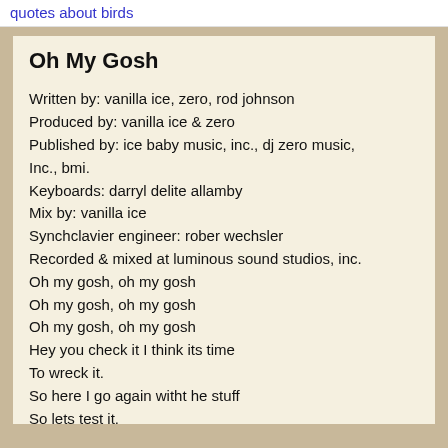quotes about birds
Oh My Gosh
Written by: vanilla ice, zero, rod johnson
Produced by: vanilla ice & zero
Published by: ice baby music, inc., dj zero music, Inc., bmi.
Keyboards: darryl delite allamby
Mix by: vanilla ice
Synchclavier engineer: rober wechsler
Recorded & mixed at luminous sound studios, inc.
Oh my gosh, oh my gosh
Oh my gosh, oh my gosh
Oh my gosh, oh my gosh
Hey you check it I think its time
To wreck it.
So here I go again witht he stuff
So lets test it.
Oo like the ice will always the fl...